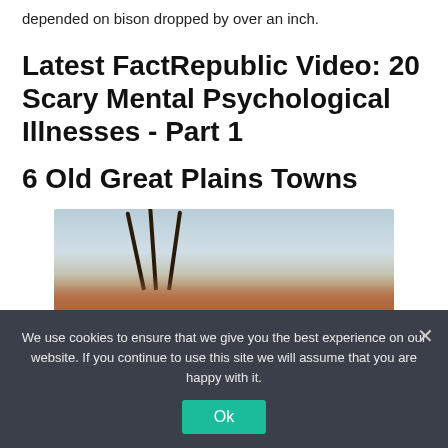depended on bison dropped by over an inch.
Latest FactRepublic Video: 20 Scary Mental Psychological Illnesses - Part 1
6 Old Great Plains Towns
[Figure (photo): Painting depicting a Great Plains scene with teepee poles and autumn-colored shrubs against a pale sky]
We use cookies to ensure that we give you the best experience on our website. If you continue to use this site we will assume that you are happy with it.